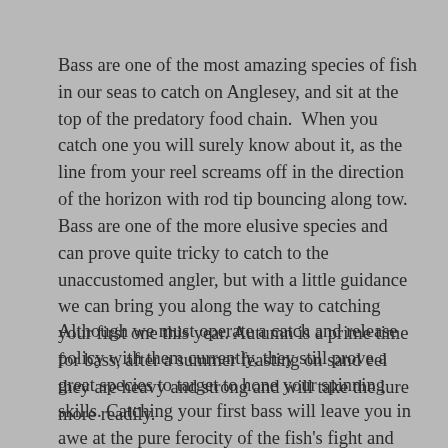Bass are one of the most amazing species of fish in our seas to catch on Anglesey, and sit at the top of the predatory food chain. When you catch one you will surely know about it, as the line from your reel screams off in the direction of the horizon with rod tip bouncing along tow. Bass are one of the more elusive species and can prove quite tricky to catch to the unaccustomed angler, but with a little guidance we can bring you along the way to catching your first one this year. Autumn is a prime time for bass, after a summer feasting on sand eel they are heavy and strong and will take the lure more readily.
Although we must operate a catch and release policy with them currently, they still prove a great species to target to hone your spinning skills. Catching your first bass will leave you in awe at the pure ferocity of the fish's fight and leave adrenalin surging through your veins.